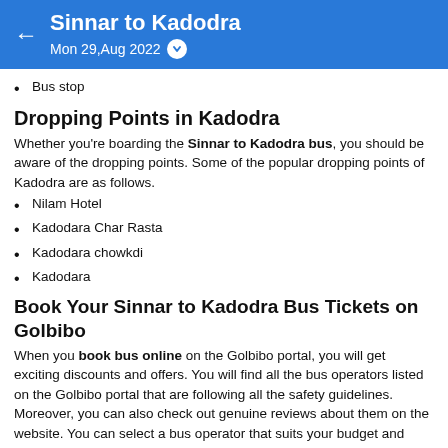Sinnar to Kadodra — Mon 29,Aug 2022
Bus stop
Dropping Points in Kadodra
Whether you're boarding the Sinnar to Kadodra bus, you should be aware of the dropping points. Some of the popular dropping points of Kadodra are as follows.
Nilam Hotel
Kadodara Char Rasta
Kadodara chowkdi
Kadodara
Book Your Sinnar to Kadodra Bus Tickets on Golbibo
When you book bus online on the Golbibo portal, you will get exciting discounts and offers. You will find all the bus operators listed on the Golbibo portal that are following all the safety guidelines. Moreover, you can also check out genuine reviews about them on the website. You can select a bus operator that suits your budget and travel needs. You can also book a Kadodra to Sinnar bus on Golbibo. Please note that you'll get a refund on certain conditions if you cancel your bus tickets. For more information, you can check out the refund policy of Golbibo.
Considering the Covid-19 situation, all the protocols are being followed to ensure a safe journey. Moreover, a GoSafe icon is allotted to all the buses that are following the safety guidelines.
The Golbibo portal offers a seamless and hassle-free bus booking experience. You can also connect with the 24/7 customer service of Golbibo to resolve all your booking-related queries.